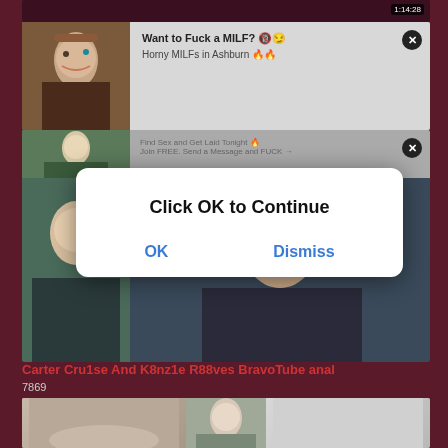[Figure (screenshot): Adult video website screenshot showing multiple video thumbnails with ad popups. First popup reads 'Want to Fuck a MILF? Horny MILFs in Ashburn'. A modal dialog overlay reads 'Click OK to Continue' with OK and Dismiss buttons. Another popup partially visible reads 'Find Sex and Get Laid Tonight'. Video timer shows 40:12. Video title: 'Carter Cru1se And K8nz1e R88ves BravoTube anal', 7869 views.]